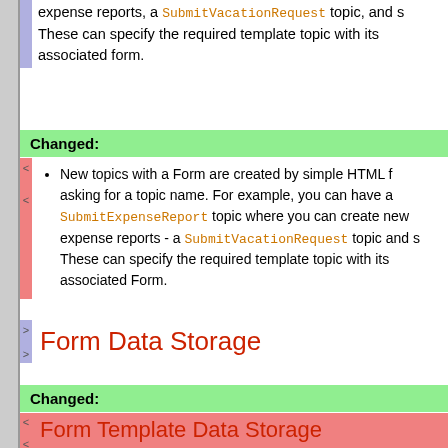expense reports, a SubmitVacationRequest topic, and s These can specify the required template topic with its associated form.
Changed:
New topics with a Form are created by simple HTML f asking for a topic name. For example, you can have a SubmitExpenseReport topic where you can create new expense reports - a SubmitVacationRequest topic and s These can specify the required template topic with its associated Form.
Form Data Storage
Changed:
Form Template Data Storage